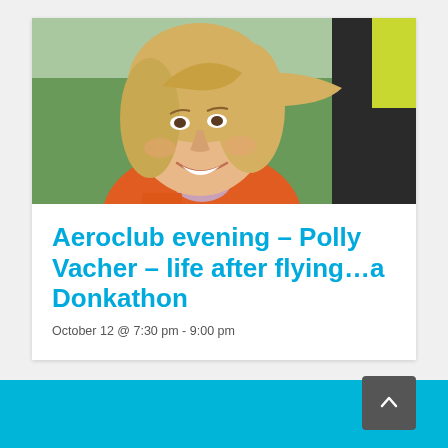[Figure (photo): Close-up photo of a smiling middle-aged blonde woman wearing an orange vest/top, with a green grassy background and a yellow-green high-visibility jacket visible on the right side.]
Aeroclub evening – Polly Vacher – life after flying...a Donkathon
October 12 @ 7:30 pm - 9:00 pm